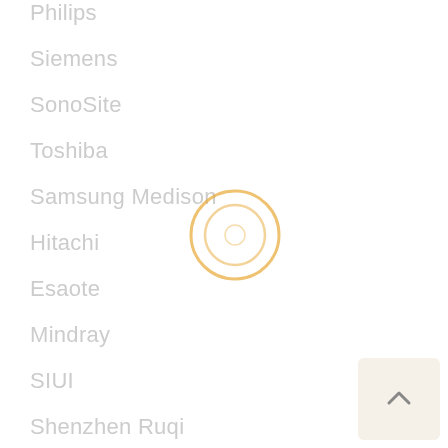Philips
Siemens
SonoSite
Toshiba
Samsung Medison
Hitachi
Esaote
Mindray
SIUI
Shenzhen Ruqi
SonoScape
Jiarui
[Figure (other): Loading spinner — two concentric circles in golden/orange color, indicating a loading state overlay on the page]